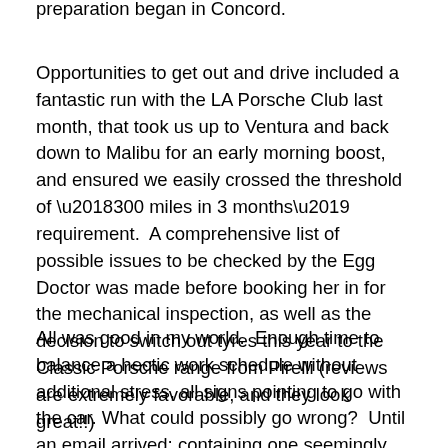preparation began in Concord.
Opportunities to get out and drive included a fantastic run with the LA Porsche Club last month, that took us up to Ventura and back down to Malibu for an early morning boost, and ensured we easily crossed the threshold of ‘300 miles in 3 months’ requirement.  A comprehensive list of possible issues to be checked by the Egg Doctor was made before booking her in for the mechanical inspection, as well as the decision to switch out tyres this year to the Classic Porsche range from Pirelli (reviews are extremely favorable, and they look great!!)
All was good in my world.  Enough time to balance a hectic work schedule without additional stress, all signs pointing to go with the car. What could possibly go wrong?  Until an email arrived; containing one seemingly innocuous question.